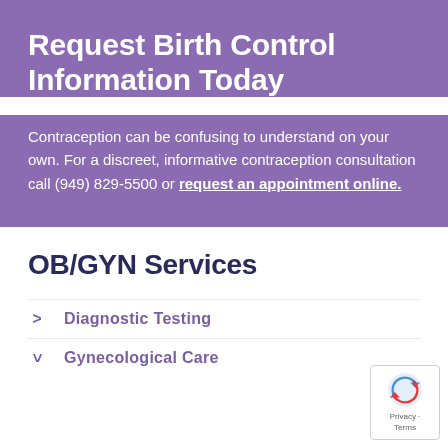Request Birth Control Information Today
Contraception can be confusing to understand on your own. For a discreet, informative contraception consultation call (949) 829-5500 or request an appointment online.
OB/GYN Services
Diagnostic Testing
Gynecological Care